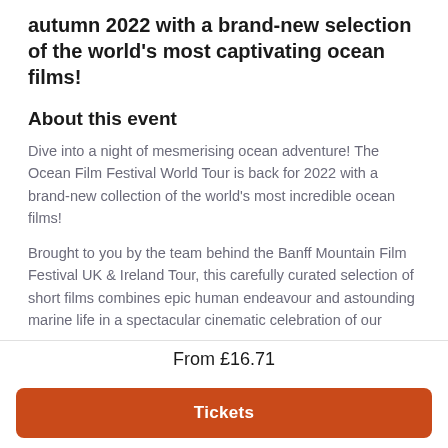autumn 2022 with a brand-new selection of the world's most captivating ocean films!
About this event
Dive into a night of mesmerising ocean adventure! The Ocean Film Festival World Tour is back for 2022 with a brand-new collection of the world's most incredible ocean films!
Brought to you by the team behind the Banff Mountain Film Festival UK & Ireland Tour, this carefully curated selection of short films combines epic human endeavour and astounding marine life in a spectacular cinematic celebration of our oceans.
From £16.71
Tickets